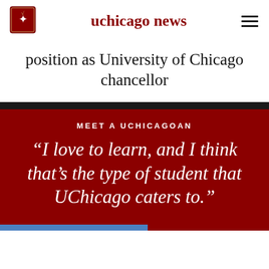uchicago news
position as University of Chicago chancellor
MEET A UCHICAGOAN
“I love to learn, and I think that’s the type of student that UChicago caters to.”